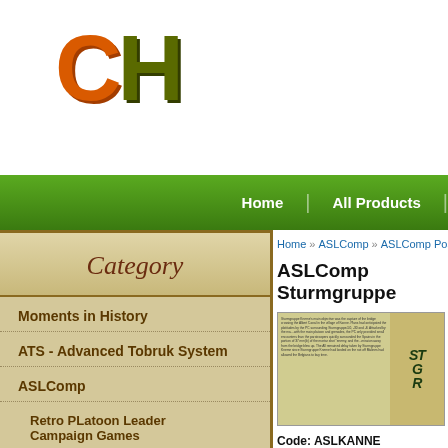[Figure (logo): CH logo with orange C and olive-green H letters]
Home | All Products
Home » ASLComp » ASLComp Pos…
ASLComp Sturmgruppe
[Figure (photo): Product image showing a rulebook page on the left and illustrated artwork on the right]
Category
Moments in History
ATS - Advanced Tobruk System
ASLComp
Retro PLatoon Leader Campaign Games
Code: ASLKANNE
Price: $59.95
Shipping Weight: 2.00 pounds